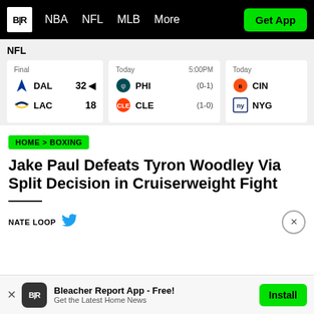B|R  NBA  NFL  MLB  More  Get App
NFL
| Team | Score | Status |
| --- | --- | --- |
| DAL | 32 | Final (W) |
| LAC | 18 | Final |
| PHI (0-1) |  | Today 5:00PM |
| CLE (1-0) |  | Today 5:00PM |
| CIN |  | Today |
| NYG |  | Today |
HOME > BOXING
Jake Paul Defeats Tyron Woodley Via Split Decision in Cruiserweight Fight
NATE LOOP
Bleacher Report App - Free! Get the Latest Home News  Install